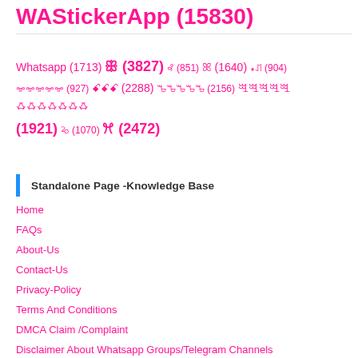WAStickerApp (15830)
Whatsapp (1713) ꕥ (3827) ꘩ (851) ꕤ (1640) ꘎ꘗ (904) ꗁꗁꗁꗁꗁ (927) ꗃꗃꗃ (2288) ꘛꘛꘛꘛꘛ (2156) ꗅꗅꗅꗅꗅ ꗇꗇꗇꗇꗇꗇꗇ (1921) ꕫ (1070) ꕮ (2472)
Standalone Page -Knowledge Base
Home
FAQs
About-Us
Contact-Us
Privacy-Policy
Terms And Conditions
DMCA Claim /Complaint
Disclaimer About Whatsapp Groups/Telegram Channels